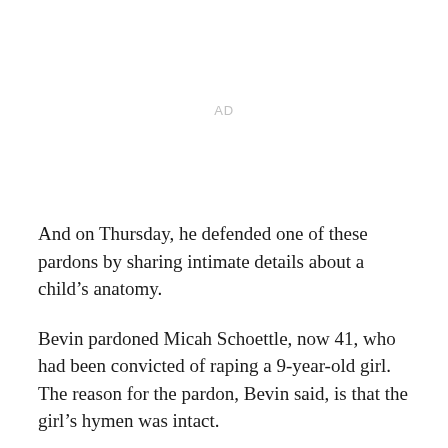[Figure (other): Advertisement placeholder area]
And on Thursday, he defended one of these pardons by sharing intimate details about a child’s anatomy.
Bevin pardoned Micah Schoettle, now 41, who had been convicted of raping a 9-year-old girl. The reason for the pardon, Bevin said, is that the girl’s hymen was intact.
“If you have been repeatedly sexually violated as a